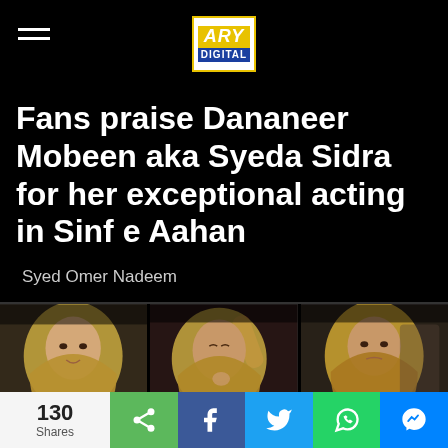ARY DIGITAL
Fans praise Dananeer Mobeen aka Syeda Sidra for her exceptional acting in Sinf e Aahan
Syed Omer Nadeem
[Figure (photo): Three side-by-side stills of Dananeer Mobeen (Syeda Sidra) from the drama Sinf e Aahan, wearing a golden/yellow hijab in different emotional expressions]
130 Shares — social share buttons: share, Facebook, Twitter, WhatsApp, Messenger